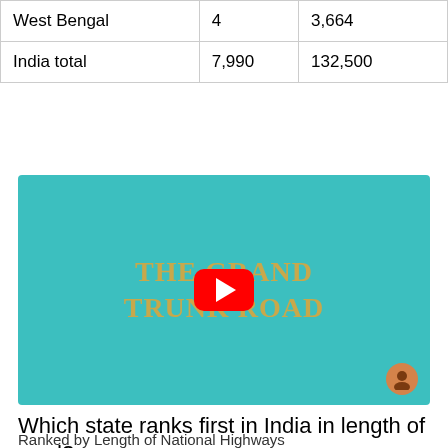| West Bengal | 4 | 3,664 |
| India total | 7,990 | 132,500 |
[Figure (screenshot): YouTube video thumbnail with teal background showing text 'THE GRAND TRUNK ROAD' in gold serif letters with a red YouTube play button in the center and a small channel icon in the bottom right corner.]
Which state ranks first in India in length of road?
Ranked by Length of National Highways